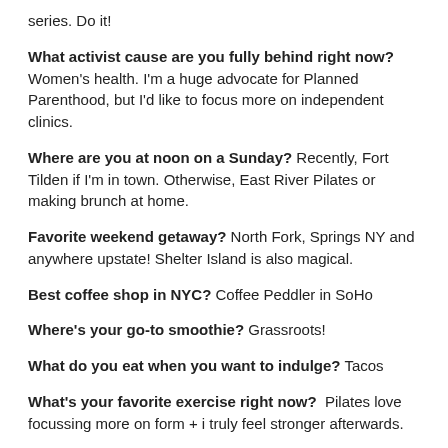series. Do it!
What activist cause are you fully behind right now? Women's health. I'm a huge advocate for Planned Parenthood, but I'd like to focus more on independent clinics.
Where are you at noon on a Sunday? Recently, Fort Tilden if I'm in town. Otherwise, East River Pilates or making brunch at home.
Favorite weekend getaway? North Fork, Springs NY and anywhere upstate! Shelter Island is also magical.
Best coffee shop in NYC? Coffee Peddler in SoHo
Where's your go-to smoothie? Grassroots!
What do you eat when you want to indulge? Tacos
What's your favorite exercise right now? Pilates love focussing more on form + i truly feel stronger afterwards.